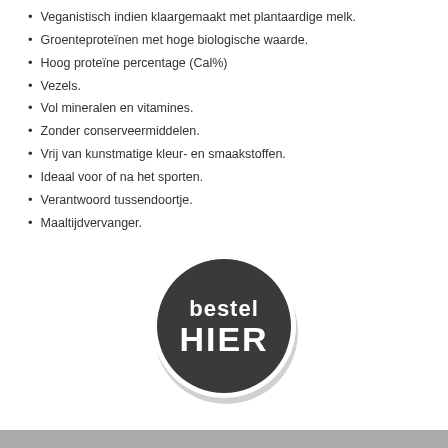Veganistisch indien klaargemaakt met plantaardige melk.
Groenteproteïnen met hoge biologische waarde.
Hoog proteïne percentage (Cal%)
Vezels.
Vol mineralen en vitamines.
Zonder conserveermiddelen.
Vrij van kunstmatige kleur- en smaakstoffen.
Ideaal voor of na het sporten.
Verantwoord tussendoortje.
Maaltijdvervanger.
[Figure (illustration): Dark circular badge/button with white text reading 'bestel HIER' (order HERE in Dutch). The circle has a thick dark gray/near-black fill with a thin white border ring and slight drop shadow.]